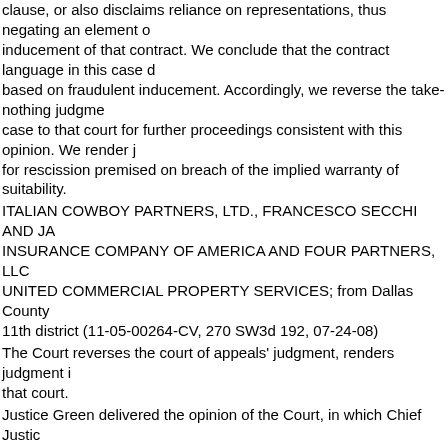clause, or also disclaims reliance on representations, thus negating an element of inducement of that contract. We conclude that the contract language in this case does not bar a claim based on fraudulent inducement. Accordingly, we reverse the take-nothing judgment and remand the case to that court for further proceedings consistent with this opinion. We render judgment against KFC for rescission premised on breach of the implied warranty of suitability.
ITALIAN COWBOY PARTNERS, LTD., FRANCESCO SECCHI AND JAMES WATSON v. THE PRUDENTIAL INSURANCE COMPANY OF AMERICA AND FOUR PARTNERS, LLC D/B/A KFC AND UNITED COMMERCIAL PROPERTY SERVICES; from Dallas County 11th district (11-05-00264-CV, 270 SW3d 192, 07-24-08)
The Court reverses the court of appeals' judgment, renders judgment in part, and remands to that court.
Justice Green delivered the opinion of the Court, in which Chief Justice Jefferson, Justice Medina, Justice Johnson, and Justice Lehrmann joined. [pdf]
Justice Hecht delivered a dissenting opinion, in which Justice Willett and Justice...
View Electronic Briefs
08-0989 ITALIAN COWBOY PARTNERS, LTD. v. THE PRUDENTIAL INSURANCE COMPANY OF AMERICA
Tawes v. Barnes, No. 10-0581 (Tex. Apr. 15, 2011)(Green)
In this case, which arose from an oil and gas lessor's claim for unpaid royalties, we address the application of a Working Interest Unit Agreement (WIUA) and a Joint Operating Agreement (JOA) to certified questions from the United States Court of Appeals for the Fifth Circuit. The question presented here, either as a third-party beneficiary or through privity of estate, can enforce the royalty obligations from an investor who consented to the drilling of two wells on a pooled gas unit, based on Tawes v. Moose Oil & Gas Co., 613 F.3d 521, 531 (5th Cir. 2010). Pursuant to Article 5, Section 2 of the Texas Rule of Appellate Procedure 58.1, we answer this question in the negative, and decline to answer s remaining certified questions.
O. LEE TAWES, III v. DORIS BARNES, INDIVIDUALLY AND AS INDEPENDENT EXECUTOR OF THE ESTATE OF LEON MCNAIR BARNES, DECEASED
The Court answers the question certified by the United States Court...